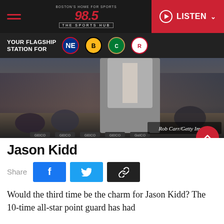98.5 The Sports Hub — BOSTON'S HOME FOR SPORTS | LISTEN
YOUR FLAGSHIP STATION FOR
[Figure (photo): Jason Kidd standing courtside in a grey suit jacket and plaid shirt, with arena crowd in background. Photo credit: Rob Carr/Getty Images]
Jason Kidd
Share
Would the third time be the charm for Jason Kidd? The 10-time all-star point guard has had